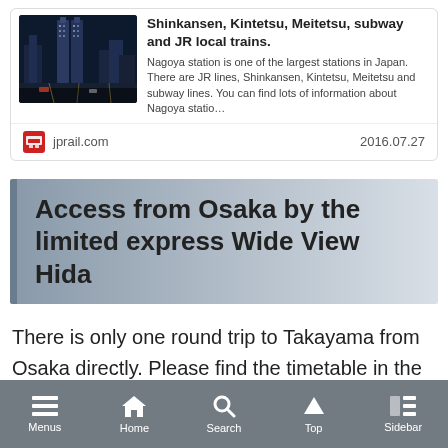[Figure (screenshot): Thumbnail photo of Nagoya station at night showing illuminated twin towers/skyscrapers]
Nagoya station guide. How to transfer among Shinkansen, Kintetsu, Meitetsu, subway and JR local trains.
Nagoya station is one of the largest stations in Japan. There are JR lines, Shinkansen, Kintetsu, Meitetsu and subway lines. You can find lots of information about Nagoya statio…
jprail.com   2016.07.27
Access from Osaka by the limited express Wide View Hida
There is only one round trip to Takayama from Osaka directly. Please find the timetable in the link below:
Due to COVID-19, it may be operated as…
Menus  Home  Search  Top  Sidebar